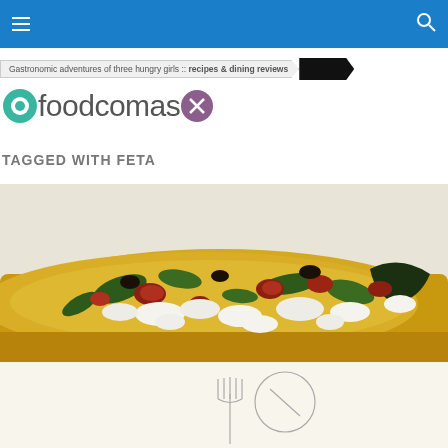Navigation bar with hamburger menu and search icon
Gastronomic adventures of three hungry girls :: recipes & dining reviews
[Figure (logo): foodcomas logo with green circle icon on left and purple circle with X on right]
TAGGED WITH FETA
[Figure (photo): Close-up photo of a flatbread or pizza slice with feta cheese, roasted tomatoes, spinach and olives on a white surface with illustrated fork and knife design]